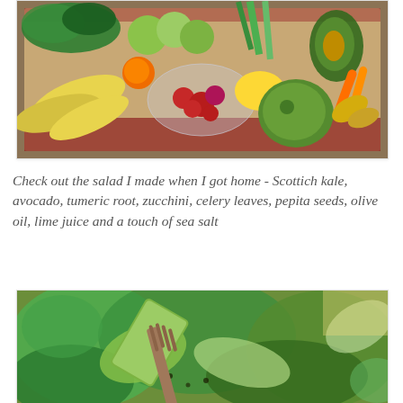[Figure (photo): A cardboard box filled with assorted fresh fruits and vegetables including bananas, green apples, kale, celery, carrots, pomegranate, lemon, zucchini/squash, avocado, and ginger root.]
Check out the salad I made when I got home - Scottich kale, avocado, tumeric root, zucchini, celery leaves, pepita seeds, olive oil, lime juice and a touch of sea salt
[Figure (photo): A close-up photo of a green salad with leafy greens, zucchini slices, and a wooden fork in a bowl.]